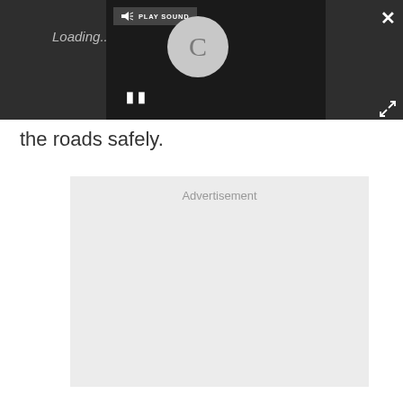[Figure (screenshot): A video player overlay in dark gray background. Contains a 'PLAY SOUND' button with speaker icon, a loading spinner circle with 'C' letter, a pause button (two vertical bars), a close X button in top-right, and an expand icon in lower-right. 'Loading...' text visible behind the player.]
the roads safely.
Advertisement